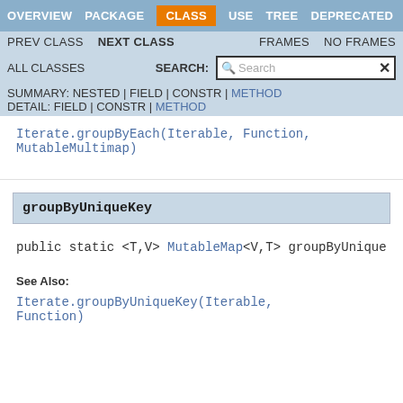OVERVIEW  PACKAGE  CLASS  USE  TREE  DEPRECATED
PREV CLASS  NEXT CLASS  FRAMES  NO FRAMES
ALL CLASSES  SEARCH:
SUMMARY: NESTED | FIELD | CONSTR | METHOD  DETAIL: FIELD | CONSTR | METHOD
Iterate.groupByEach(Iterable, Function, MutableMultimap)
groupByUniqueKey
public static <T,V> MutableMap<V,T> groupByUnique
See Also:
Iterate.groupByUniqueKey(Iterable, Function)